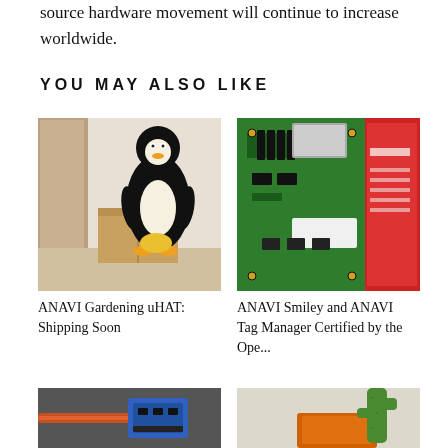source hardware movement will continue to increase worldwide.
YOU MAY ALSO LIKE
[Figure (photo): Photo of a large Tux (Linux penguin) mascot cutout standing next to a cardboard box in a room with a wooden door]
ANAVI Gardening uHAT: Shipping Soon
[Figure (photo): Close-up photo of green and red electronic circuit boards — ANAVI Tag Manager and a sensor board]
ANAVI Smiley and ANAVI Tag Manager Certified by the Ope...
[Figure (photo): Photo of electronic hardware with orange/red wiring and a small blue sensor board]
[Figure (photo): Photo of a small cactus plant next to an orange electronic board]